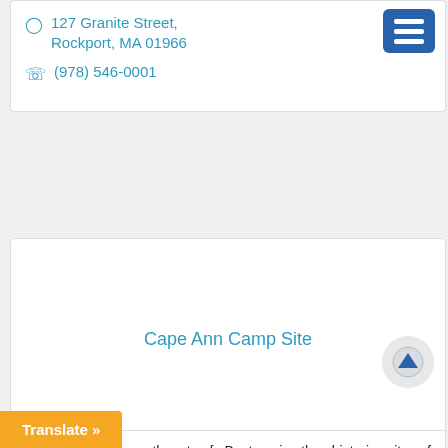127 Granite Street, Rockport, MA 01966
(978) 546-0001
Cape Ann Camp Site
Just 30 miles northeast of Boston in the historic city of Gloucester. Established in 1949, Cape Ann Camp Site is family owned and operated and built on ...
80 Atlantic Street, MA 01930
Translate »